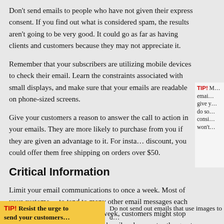Don’t send emails to people who have not given their express consent. If you find out what is considered spam, the results aren’t going to be very good. It could go as far as having clients and customers because they may not appreciate it.
Remember that your subscribers are utilizing mobile devices to check their email. Learn the constraints associated with small displays, and make sure that your emails are readable on phone-sized screens.
TIP! M... email... give y... do so... consi... won’t...
Give your customers a reason to answer the call to action in your emails. They are more likely to purchase from you if they are given an advantage to it. For instance, advertise a discount, you could offer them free shipping on orders over $50.
Critical Information
Limit your email communications to once a week. Most of your customers are busy and have to tend to many other email messages each day. If you start sending more than one email a week, customers might stop paying attention to them or unsubscribe altogether. This wastes the great content you spent your time and effort assembling.
TIP! Resist the urge to send your customers...
Do not send out emails that use images to d...